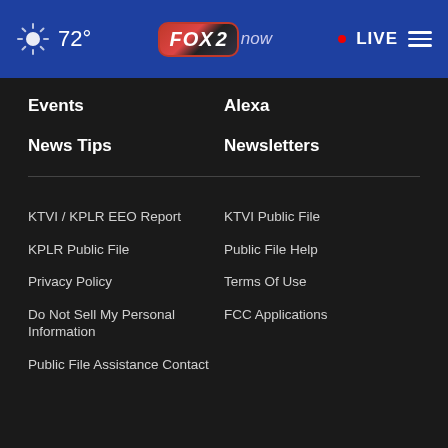72° FOX 2 now • LIVE
Events
Alexa
News Tips
Newsletters
KTVI / KPLR EEO Report
KTVI Public File
KPLR Public File
Public File Help
Privacy Policy
Terms Of Use
Do Not Sell My Personal Information
FCC Applications
Public File Assistance Contact